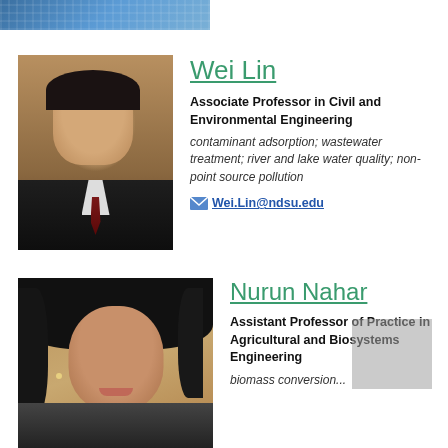[Figure (photo): Partial top image strip showing blue geometric/grid pattern]
[Figure (photo): Headshot of Wei Lin, male professor in dark suit with tie]
Wei Lin
Associate Professor in Civil and Environmental Engineering
contaminant adsorption; wastewater treatment; river and lake water quality; non-point source pollution
Wei.Lin@ndsu.edu
[Figure (photo): Headshot of Nurun Nahar, female professor with dark hair]
Nurun Nahar
Assistant Professor of Practice in Agricultural and Biosystems Engineering
biomass conversion...